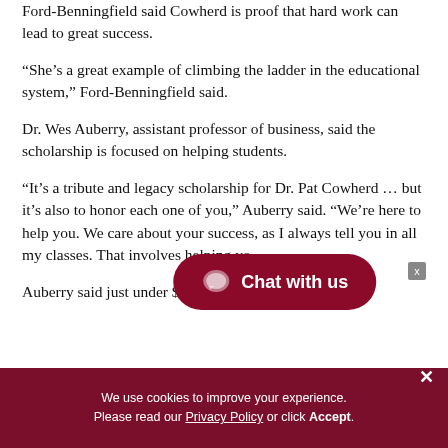Ford-Benningfield said Cowherd is proof that hard work can lead to great success.
“She’s a great example of climbing the ladder in the educational system,” Ford-Benningfield said.
Dr. Wes Auberry, assistant professor of business, said the scholarship is focused on helping students.
“It’s a tribute and legacy scholarship for Dr. Pat Cowherd … but it’s also to honor each one of you,” Auberry said. “We’re here to help you. We care about your success, as I always tell you in all my classes. That involves helping yo…
Auberry said just under $10,000 has been raised
[Figure (other): Dark red rounded chat button with speech bubble icon and text 'Chat with us']
We use cookies to improve your experience. Please read our Privacy Policy or click Accept.